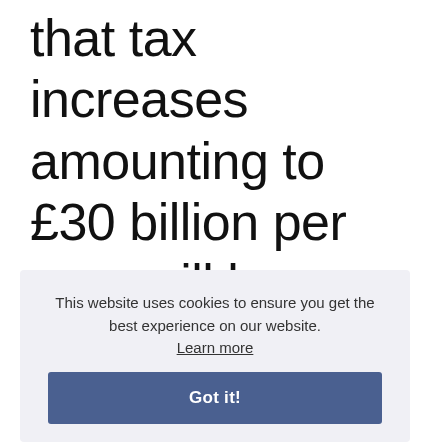that tax increases amounting to £30 billion per year will be needed in order to cut the UK's deficit. To avoid spending falling as a proportion
This website uses cookies to ensure you get the best experience on our website. Learn more Got it!